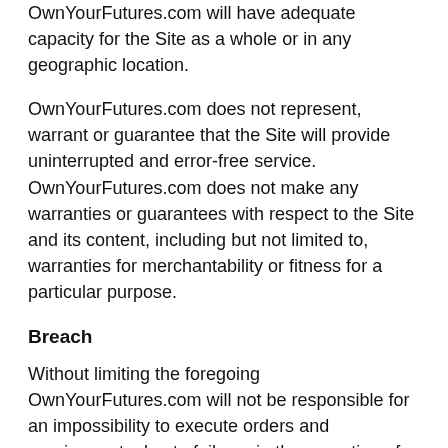OwnYourFutures.com will have adequate capacity for the Site as a whole or in any geographic location.
OwnYourFutures.com does not represent, warrant or guarantee that the Site will provide uninterrupted and error-free service. OwnYourFutures.com does not make any warranties or guarantees with respect to the Site and its content, including but not limited to, warranties for merchantability or fitness for a particular purpose.
Breach
Without limiting the foregoing OwnYourFutures.com will not be responsible for an impossibility to execute orders and requirements due to failures in the operation of informational systems caused by technical faults, which are beyond its control.
You agree to fully indemnify, defend and hold harmless OwnYourFutures.com...